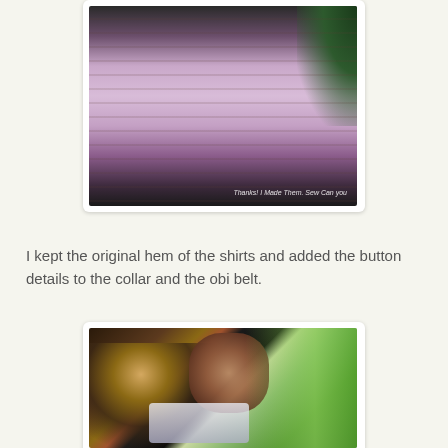[Figure (photo): A light purple/lavender shirt or dress hanging against a dark background with brick wall, with watermark text 'Thanks! I Made Them. Sew Can you' in the bottom right corner.]
I kept the original hem of the shirts and added the button details to the collar and the obi belt.
[Figure (photo): A smiling woman in profile view showing side of face, wearing earrings and a white/light top with collar detail, set against a brick wall and green foliage background.]